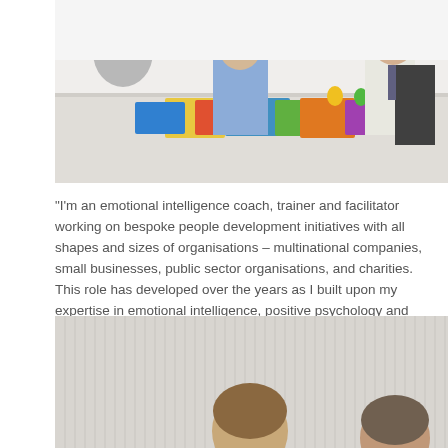[Figure (photo): Group of people sitting around a table with colorful materials/papers spread on it, in a workshop or training setting.]
"I'm an emotional intelligence coach, trainer and facilitator working on bespoke people development initiatives with all shapes and sizes of organisations – multinational companies, small businesses, public sector organisations, and charities. This role has developed over the years as I built upon my expertise in emotional intelligence, positive psychology and neuroscience. "
[Figure (photo): Two people photographed from the shoulders up against a light striped background.]